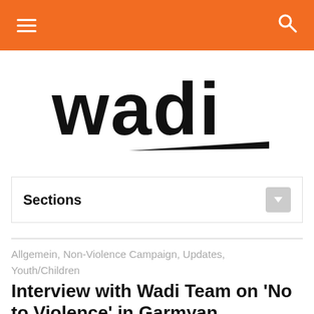≡  🔍
[Figure (logo): WADI logo in bold black lettering with a triangular underline swoosh]
Sections
Allgemein, Non-Violence Campaign, Updates, Youth/Children
Interview with Wadi Team on 'No to Violence' in Garmyan